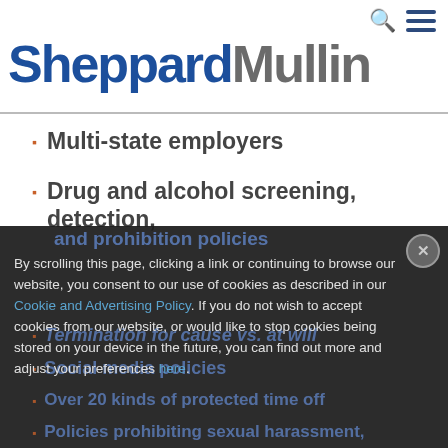[Figure (logo): Sheppard Mullin law firm logo with blue 'Sheppard' and grey 'Mullin' text]
Multi-state employers
Drug and alcohol screening, detection, and prohibition policies
Termination for cause vs. at will
Social media policies
Over 20 kinds of protected time off
Policies prohibiting sexual harassment,
By scrolling this page, clicking a link or continuing to browse our website, you consent to our use of cookies as described in our Cookie and Advertising Policy. If you do not wish to accept cookies from our website, or would like to stop cookies being stored on your device in the future, you can find out more and adjust your preferences here.